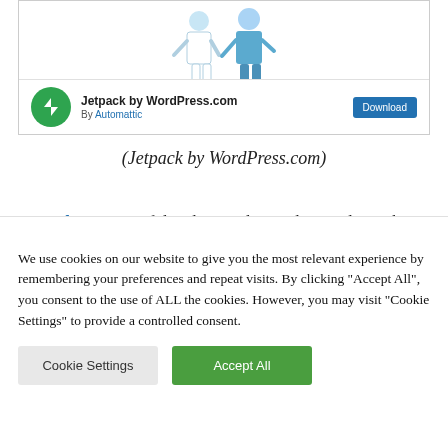[Figure (screenshot): Jetpack by WordPress.com plugin card with illustration of two people, a green circular lightning bolt icon, and a blue Download button. Text reads 'Jetpack by WordPress.com' and 'By Automattic'.]
(Jetpack by WordPress.com)
Jetpack is a powerful and versatile WordPress plugin that gives you access to over 40 useful features, including displaying related posts on…
We use cookies on our website to give you the most relevant experience by remembering your preferences and repeat visits. By clicking "Accept All", you consent to the use of ALL the cookies. However, you may visit "Cookie Settings" to provide a controlled consent.